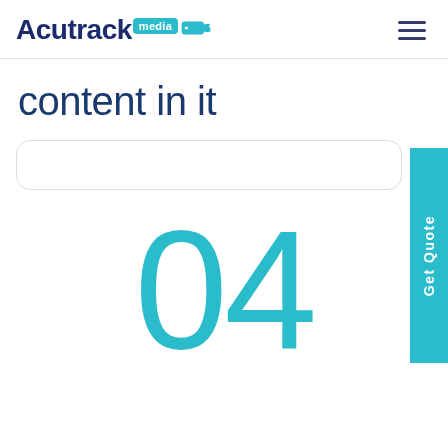Acutrack media
content in it
[Figure (other): Search bar input field with rounded corners]
Get Quote
04